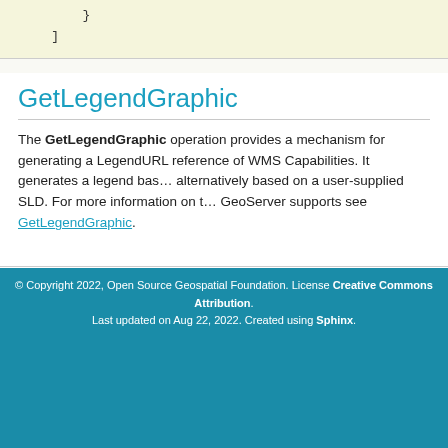}
]
GetLegendGraphic
The GetLegendGraphic operation provides a mechanism for generating a LegendURL reference of WMS Capabilities. It generates a legend based on alternatively based on a user-supplied SLD. For more information on the GetLegendGraphic GeoServer supports see GetLegendGraphic.
Previous: WMS basics
© Copyright 2022, Open Source Geospatial Foundation. License Creative Commons Attribution. Last updated on Aug 22, 2022. Created using Sphinx.